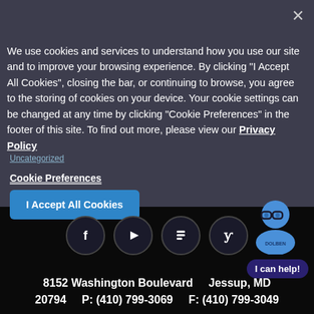Making the Most of Your Mission Place Balcony
Spring Greens for a Summery Salad
March Madness Party Tips
See more »
We use cookies and services to understand how you use our site and to improve your browsing experience. By clicking "I Accept All Cookies", closing the bar, or continuing to browse, you agree to the storing of cookies on your device. Your cookie settings can be changed at any time by clicking "Cookie Preferences" in the footer of this site. To find out more, please view our Privacy Policy
Uncategorized
Cookie Preferences
I Accept All Cookies
[Figure (screenshot): Social media icons row: Facebook, YouTube, Blogger, Yelp]
[Figure (illustration): Dolben chatbot avatar - blue cartoon figure with glasses]
I can help!
8152 Washington Boulevard    Jessup, MD
20794    P: (410) 799-3069    F: (410) 799-3049